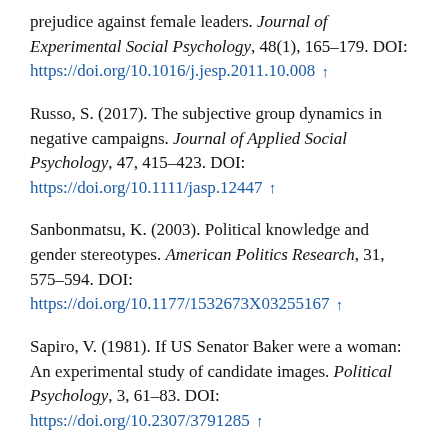prejudice against female leaders. Journal of Experimental Social Psychology, 48(1), 165–179. DOI: https://doi.org/10.1016/j.jesp.2011.10.008 ↑
Russo, S. (2017). The subjective group dynamics in negative campaigns. Journal of Applied Social Psychology, 47, 415–423. DOI: https://doi.org/10.1111/jasp.12447 ↑
Sanbonmatsu, K. (2003). Political knowledge and gender stereotypes. American Politics Research, 31, 575–594. DOI: https://doi.org/10.1177/1532673X03255167 ↑
Sapiro, V. (1981). If US Senator Baker were a woman: An experimental study of candidate images. Political Psychology, 3, 61–83. DOI: https://doi.org/10.2307/3791285 ↑